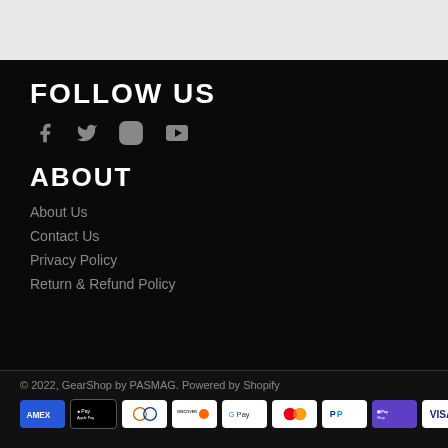FOLLOW US
[Figure (other): Social media icons: Facebook, Twitter, Instagram, YouTube]
ABOUT
About Us
Contact Us
Privacy Policy
Return & Refund Policy
© 2022, GearShop by PASMAG. Powered by Shopify
[Figure (other): Payment method icons: Amex, Apple Pay, Diners Club, Discover, Google Pay, Mastercard, PayPal, Shop Pay, Visa]